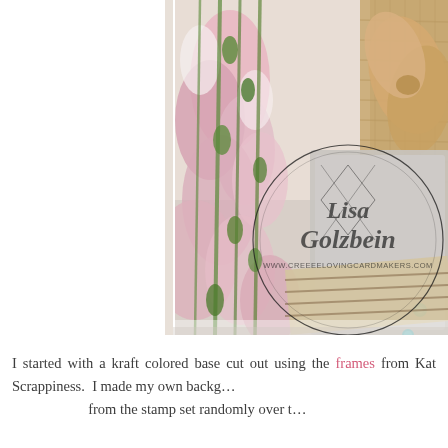[Figure (photo): Close-up photo of a handmade craft card featuring pink flowers with green stems on the left, burlap ribbon/bow and tan fabric flower in the upper center-right, a gray embossed background piece with teal rhinestones, striped patterned paper strips, and a circular watermark stamp reading 'Lisa Golzbein www.creeelovingcardmakers.com']
I started with a kraft colored base cut out using the frames from Kat Scrappiness. I made my own backg... from the stamp set randomly over t...